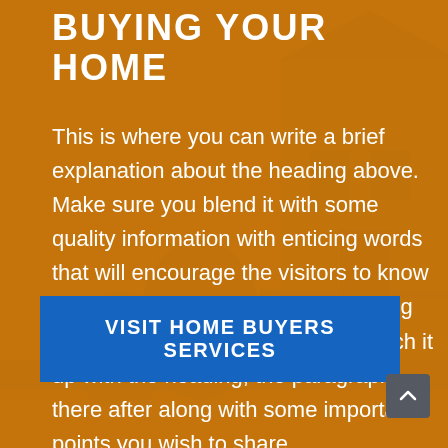BUYING YOUR HOME
This is where you can write a brief explanation about the heading above. Make sure you blend it with some quality information with enticing words that will encourage the visitors to know more. Consider this to be an opening paragraph increasing curiosity. Match it up with the heading, the paragraph there after along with some important points you wish to share.
[Figure (other): Blue button labeled VISIT HOME BUYERS SERVICES on orange background]
[Figure (other): Gray scroll-to-top arrow button in bottom right corner]